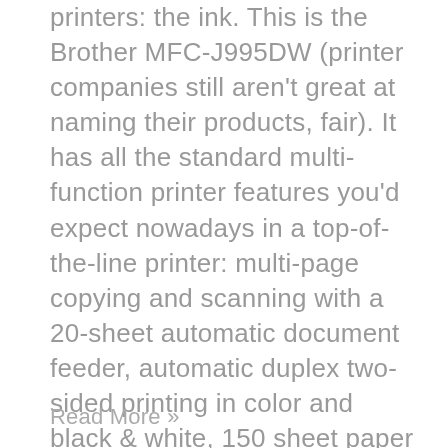printers: the ink. This is the Brother MFC-J995DW (printer companies still aren't great at naming their products, fair). It has all the standard multi-function printer features you'd expect nowadays in a top-of-the-line printer: multi-page copying and scanning with a 20-sheet automatic document feeder, automatic duplex two-sided printing in color and black & white, 150 sheet paper tray that'll hold up to legal sized paper, WiFi & cloud printing services enabled (AirPrint, Google Cloud Print 2.0, etc.), etc. All ...
Read More »